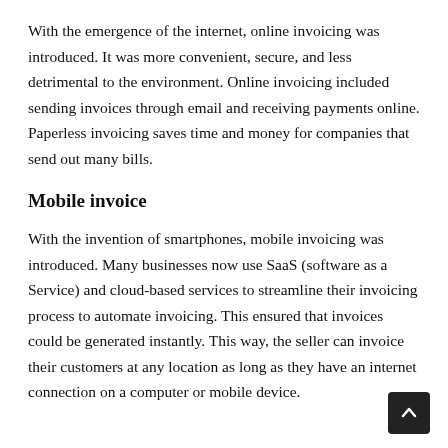With the emergence of the internet, online invoicing was introduced. It was more convenient, secure, and less detrimental to the environment. Online invoicing included sending invoices through email and receiving payments online. Paperless invoicing saves time and money for companies that send out many bills.
Mobile invoice
With the invention of smartphones, mobile invoicing was introduced. Many businesses now use SaaS (software as a Service) and cloud-based services to streamline their invoicing process to automate invoicing. This ensured that invoices could be generated instantly. This way, the seller can invoice their customers at any location as long as they have an internet connection on a computer or mobile device.